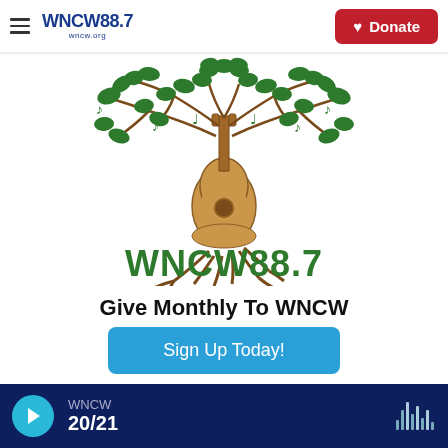WNCW 88.7 | wncw.org | Donate
[Figure (logo): WNCW 88.7 logo featuring a tree with green leaves and musical notes, a guitar as the trunk, roots at the bottom, and the text WNCW 88.7 in green lettering]
Give Monthly To WNCW
Sign Up Today!
WNCW 20/21